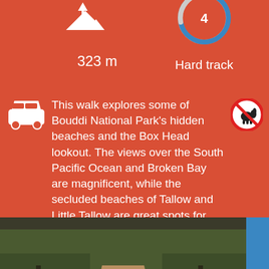[Figure (infographic): Top red bar with elevation icon showing mountain peak with up arrow, elevation 323 m on the left, and a circular donut-style difficulty gauge showing '4' with 'Hard track' label on the right]
This walk explores some of Bouddi National Park's hidden beaches and the Box Head lookout. The views over the South Pacific Ocean and Broken Bay are magnificent, while the secluded beaches of Tallow and Little Tallow are great spots for lunch and to dip the toes in. The vegetation is mostly heath along the service tracks, and larger eucalyptus trees along the bush tracks.
[Figure (photo): Photo of a dirt bush track surrounded by scrubby vegetation and eucalyptus trees, with map overlay controls visible]
Track Notes
Terrain
Near by
Getting There